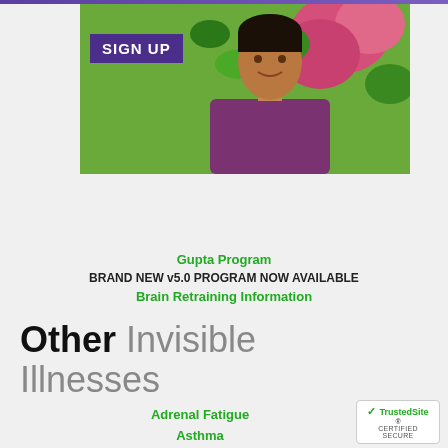[Figure (photo): Man smiling outdoors among flowers with a purple SIGN UP overlay box, and a dark purple banner below reading HEAL FROM ME/CFS, FIBROMYALGIA, MCS, EHS AND ASSOCIATED CONDITIONS]
Gupta Program
BRAND NEW v5.0 PROGRAM NOW AVAILABLE
Brain Retraining Information
Other Invisible Illnesses
Adrenal Fatigue
Asthma
Celiac Disease
Electrical Sensitivity
[Figure (logo): TrustedSite CERTIFIED SECURE badge]